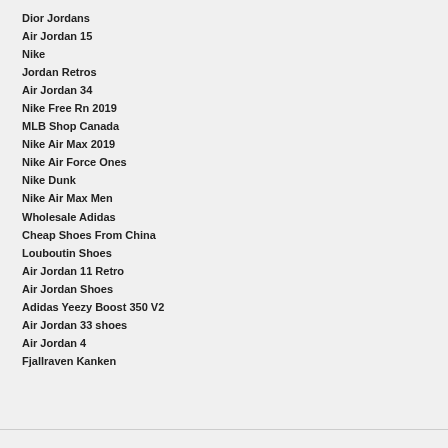Dior Jordans
Air Jordan 15
Nike
Jordan Retros
Air Jordan 34
Nike Free Rn 2019
MLB Shop Canada
Nike Air Max 2019
Nike Air Force Ones
Nike Dunk
Nike Air Max Men
Wholesale Adidas
Cheap Shoes From China
Louboutin Shoes
Air Jordan 11 Retro
Air Jordan Shoes
Adidas Yeezy Boost 350 V2
Air Jordan 33 shoes
Air Jordan 4
Fjallraven Kanken